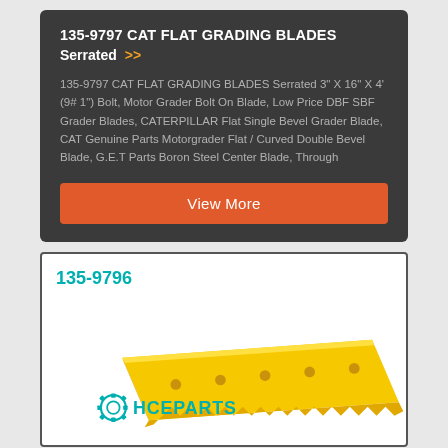135-9797 CAT FLAT GRADING BLADES Serrated
135-9797 CAT FLAT GRADING BLADES Serrated 3" X 16" X 4' (9# 1") Bolt, Motor Grader Bolt On Blade, Low Price DBF SBF Grader Blades, CATERPILLAR Flat Single Bevel Grader Blade, CAT Genuine Parts Motorgrader Flat / Curved Double Bevel Blade, G.E.T Parts Boron Steel Center Blade, Through
View More
135-9796
[Figure (photo): Yellow CAT flat grading blade product image with HCEPARTS logo watermark]